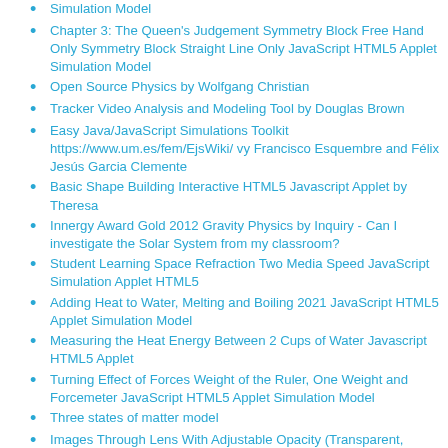Simulation Model
Chapter 3: The Queen's Judgement Symmetry Block Free Hand Only Symmetry Block Straight Line Only JavaScript HTML5 Applet Simulation Model
Open Source Physics by Wolfgang Christian
Tracker Video Analysis and Modeling Tool by Douglas Brown
Easy Java/JavaScript Simulations Toolkit https://www.um.es/fem/EjsWiki/ vy Francisco Esquembre and Félix Jesús Garcia Clemente
Basic Shape Building Interactive HTML5 Javascript Applet by Theresa
Innergy Award Gold 2012 Gravity Physics by Inquiry - Can I investigate the Solar System from my classroom?
Student Learning Space Refraction Two Media Speed JavaScript Simulation Applet HTML5
Adding Heat to Water, Melting and Boiling 2021 JavaScript HTML5 Applet Simulation Model
Measuring the Heat Energy Between 2 Cups of Water Javascript HTML5 Applet
Turning Effect of Forces Weight of the Ruler, One Weight and Forcemeter JavaScript HTML5 Applet Simulation Model
Three states of matter model
Images Through Lens With Adjustable Opacity (Transparent, Translucent and Opaque )Interactive Javascript HTML5 Applet
Fish Tank, Family Photo Seen Through Objects of Different